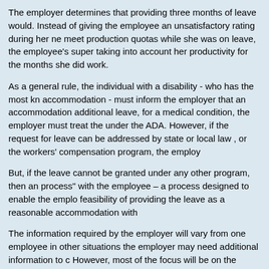The employer determines that providing three months of leave would. Instead of giving the employee an unsatisfactory rating during her ne meet production quotas while she was on leave, the employee's super taking into account her productivity for the months she did work.
As a general rule, the individual with a disability - who has the most kn accommodation - must inform the employer that an accommodation additional leave, for a medical condition, the employer must treat the under the ADA. However, if the request for leave can be addressed by state or local law , or the workers' compensation program, the employ
But, if the leave cannot be granted under any other program, then an process" with the employee -- a process designed to enable the emplo feasibility of providing the leave as a reasonable accommodation with
The information required by the employer will vary from one employee in other situations the employer may need additional information to c However, most of the focus will be on the following issues:. Depending employer should consider whether the leave would cause an undue h information from the employee's health care provider with the employ information that the employee has provided.
Employers may also ask the health care provider to respond to questi